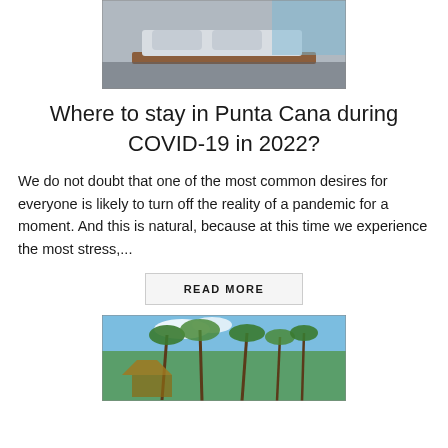[Figure (photo): Hotel room with bed/lounge chairs on a reflective dark floor, beach visible in background]
Where to stay in Punta Cana during COVID-19 in 2022?
We do not doubt that one of the most common desires for everyone is likely to turn off the reality of a pandemic for a moment. And this is natural, because at this time we experience the most stress,...
READ MORE
[Figure (photo): Tropical beach scene with palm trees and thatched umbrellas under blue sky]